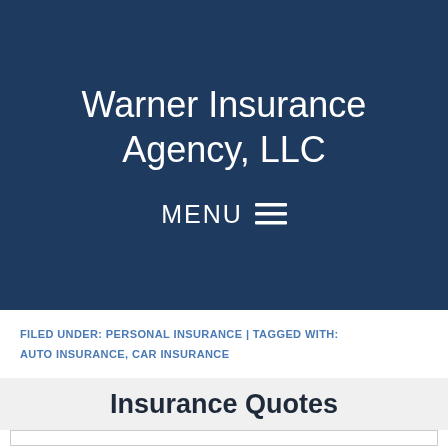Warner Insurance Agency, LLC
MENU ☰
FILED UNDER: PERSONAL INSURANCE | TAGGED WITH: AUTO INSURANCE, CAR INSURANCE
Insurance Quotes